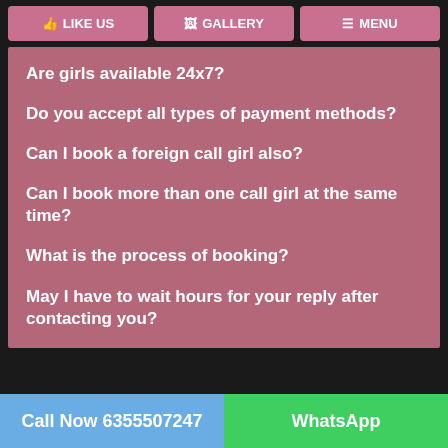LIKE US | GALLERY | MENU
Are girls available 24x7?
Do you accept all types of payment methods?
Can I book a foreign call girl also?
Can I book more than one call girl at the same time?
What is the process of booking?
May I have to wait hours for your reply after contacting you?
Call Now 6355507247 | WhatsApp